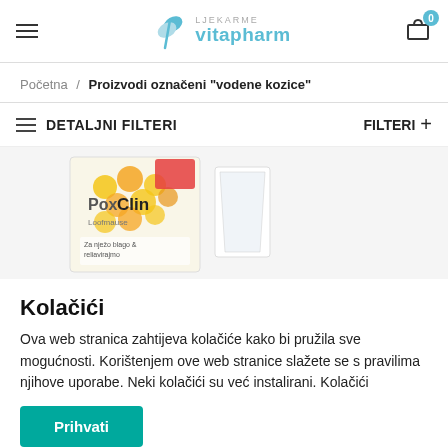vitapharm — Navigation header with hamburger menu, logo, and cart icon (0 items)
Početna / Proizvodi označeni "vodene kozice"
DETALJNI FILTERI
FILTERI +
[Figure (photo): PoxClin product box, yellow and white packaging with red accent and honeycomb pattern]
Kolačići
Ova web stranica zahtijeva kolačiće kako bi pružila sve mogućnosti. Korištenjem ove web stranice slažete se s pravilima njihove uporabe. Neki kolačići su već instalirani. Kolačići
Prihvati